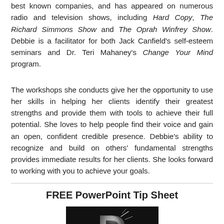best known companies, and has appeared on numerous radio and television shows, including Hard Copy, The Richard Simmons Show and The Oprah Winfrey Show. Debbie is a facilitator for both Jack Canfield's self-esteem seminars and Dr. Teri Mahaney's Change Your Mind program.
The workshops she conducts give her the opportunity to use her skills in helping her clients identify their greatest strengths and provide them with tools to achieve their full potential. She loves to help people find their voice and gain an open, confident credible presence. Debbie's ability to recognize and build on others' fundamental strengths provides immediate results for her clients. She looks forward to working with you to achieve your goals.
FREE PowerPoint Tip Sheet
[Figure (photo): Dark background image showing a PowerPoint application icon/logo (letter P with metallic styling) on black background]